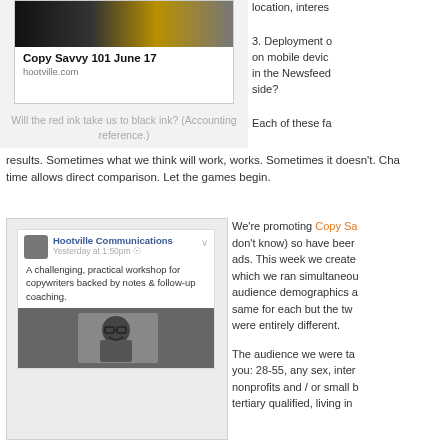[Figure (screenshot): Facebook ad card for Copy Savvy 101 June 17 with hootville.com URL and black/yellow image]
Will the red ink take us to black ink? (Accounting reference.)
location, interes
3. Deployment on mobile devic in the Newsfeed side?
Each of these fa
results. Sometimes what we think will work, works. Sometimes it doesn't. Cha time allows direct comparison. Let the games begin.
[Figure (screenshot): Facebook post from Hootville Communications showing a black and white photo and text about a copywriting workshop]
We're promoting Copy Sa don't know) so have been ads. This week we create which we ran simultaneou audience demographics a same for each but the tw were entirely different.
The audience we were ta you: 28-55, any sex, inter nonprofits and / or small b tertiary qualified, living in